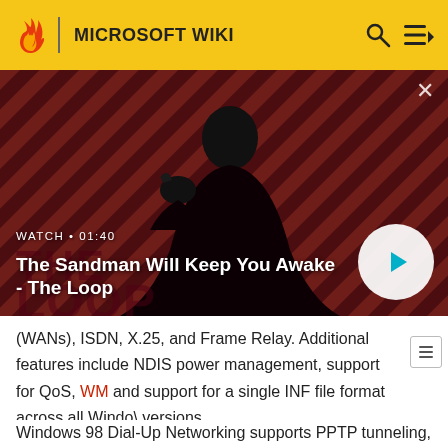MICROSOFT WIKI
[Figure (screenshot): Video thumbnail showing a dark-cloaked figure with a raven on shoulder against a red diagonal striped background. Video title: The Sandman Will Keep You Awake - The Loop. Duration: 01:40. Play button overlay visible.]
(WANs), ISDN, X.25, and Frame Relay. Additional features include NDIS power management, support for QoS, WM and support for a single INF file format across all Windows versions.
Windows 98 Dial-Up Networking supports PPTP tunneling,